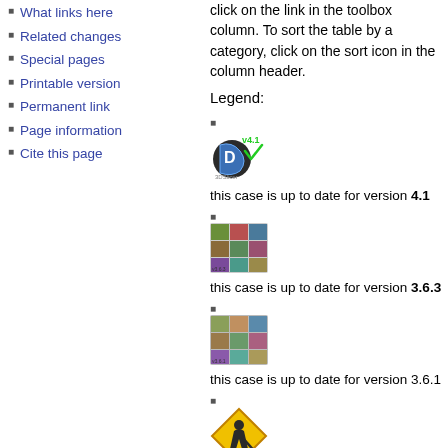What links here
Related changes
Special pages
Printable version
Permanent link
Page information
Cite this page
click on the link in the toolbox column. To sort the table by a category, click on the sort icon in the column header.
Legend:
this case is up to date for version 4.1
this case is up to date for version 3.6.3
this case is up to date for version 3.6.1
these cases are not yet registered / under development or presented as "challenge" cases for which no solution is avail. with the current